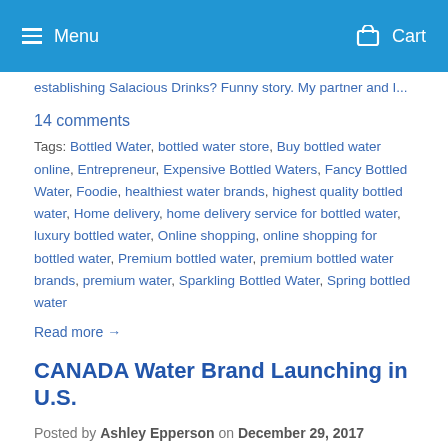Menu | Cart
establishing Salacious Drinks? Funny story. My partner and I...
14 comments
Tags: Bottled Water, bottled water store, Buy bottled water online, Entrepreneur, Expensive Bottled Waters, Fancy Bottled Water, Foodie, healthiest water brands, highest quality bottled water, Home delivery, home delivery service for bottled water, luxury bottled water, Online shopping, online shopping for bottled water, Premium bottled water, premium bottled water brands, premium water, Sparkling Bottled Water, Spring bottled water
Read more →
CANADA Water Brand Launching in U.S.
Posted by Ashley Epperson on December 29, 2017